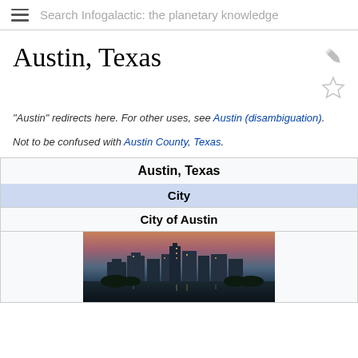Search Infogalactic: the planetary knowledge
Austin, Texas
"Austin" redirects here. For other uses, see Austin (disambiguation).
Not to be confused with Austin County, Texas.
| Austin, Texas |
| City |
| City of Austin |
| [city skyline image] |